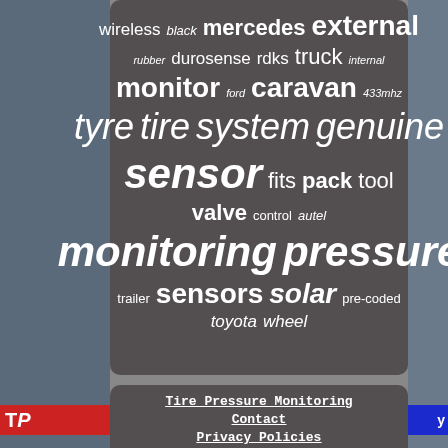[Figure (infographic): Word cloud on dark brownish-grey background featuring tire pressure monitoring related terms in varying font sizes and styles. Words include: wireless, black, mercedes, external, rubber, durosense, rdks, truck, internal, monitor, ford, caravan, 433mhz, tyre, tire, system, genuine, sensor, fits, pack, tool, valve, control, autel, monitoring, pressure, trailer, sensors, solar, pre-coded, toyota, wheel]
Tire Pressure Monitoring
Contact
Privacy Policies